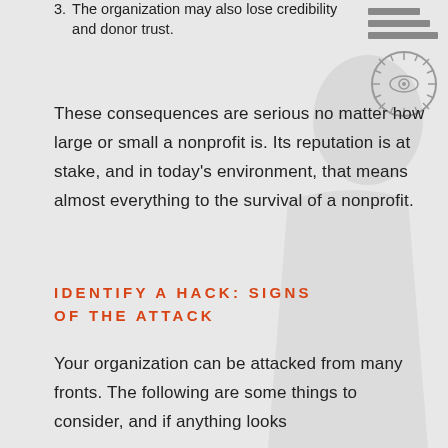3. The organization may also lose credibility and donor trust.
These consequences are serious no matter how large or small a nonprofit is. Its reputation is at stake, and in today's environment, that means almost everything to the survival of a nonprofit.
IDENTIFY A HACK: SIGNS OF THE ATTACK
Your organization can be attacked from many fronts. The following are some things to consider, and if anything looks